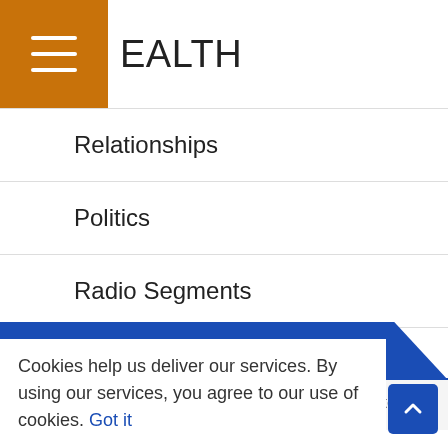EALTH
Relationships
Politics
Radio Segments
CONTACT US
RECENT COMMENTS
Gregory Hendricks on Blacks Attacking Whites Will Cowardize
Cookies help us deliver our services. By using our services, you agree to our use of cookies. Got it